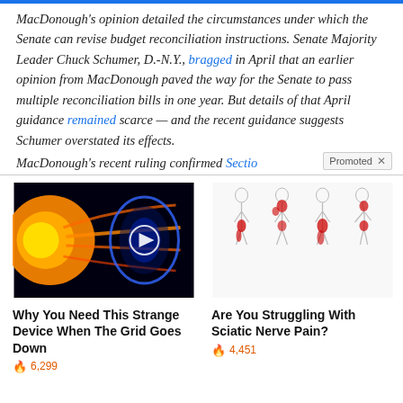MacDonough's opinion detailed the circumstances under which the Senate can revise budget reconciliation instructions. Senate Majority Leader Chuck Schumer, D.-N.Y., bragged in April that an earlier opinion from MacDonough paved the way for the Senate to pass multiple reconciliation bills in one year. But details of that April guidance remained scarce — and the recent guidance suggests Schumer overstated its effects.
MacDonough's recent ruling confirmed Sectio…
[Figure (photo): Promotional thumbnail showing a glowing cosmic/solar scene with a blue play button overlay, advertising 'Why You Need This Strange Device When The Grid Goes Down' with 6,299 engagements]
Why You Need This Strange Device When The Grid Goes Down
[Figure (illustration): Medical illustration showing human body outlines with red highlighted areas indicating sciatic nerve pain locations, advertising 'Are You Struggling With Sciatic Nerve Pain?' with 4,451 engagements]
Are You Struggling With Sciatic Nerve Pain?